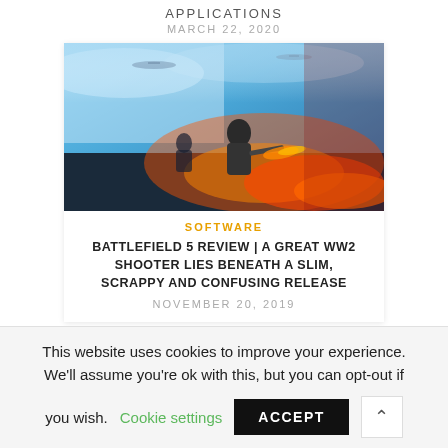APPLICATIONS
MARCH 22, 2020
[Figure (photo): Battlefield 5 promotional image showing a soldier with a weapon surrounded by fire and explosions, with aircraft in a blue sky background]
SOFTWARE
BATTLEFIELD 5 REVIEW | A GREAT WW2 SHOOTER LIES BENEATH A SLIM, SCRAPPY AND CONFUSING RELEASE
NOVEMBER 20, 2019
This website uses cookies to improve your experience. We'll assume you're ok with this, but you can opt-out if you wish.
Cookie settings
ACCEPT